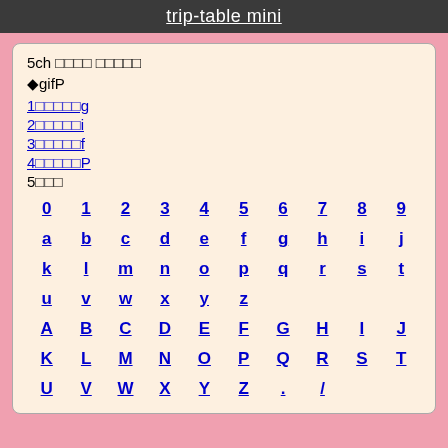trip-table mini
5ch □□□□ □□□□□
◆gifP
1□□□□□g
2□□□□□i
3□□□□□f
4□□□□□P
5□□□
0 1 2 3 4 5 6 7 8 9 a b c d e f g h i j k l m n o p q r s t u v w x y z A B C D E F G H I J K L M N O P Q R S T U V W X Y Z . /